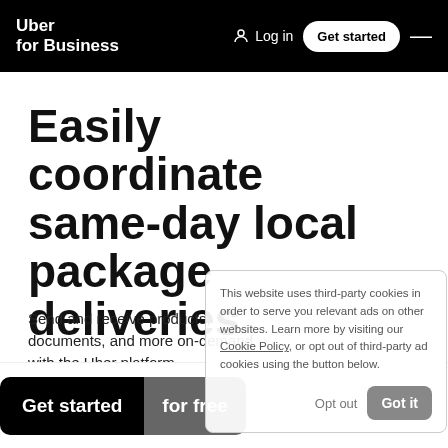Uber for Business | Log in | Get started
Easily coordinate same-day local package deliveries
Send and receive products, documents, and more on-demand with the Uber platform.
Need an API integration? Contact us.
This website uses third-party cookies in order to serve you relevant ads on other websites. Learn more by visiting our Cookie Policy, or opt out of third-party ad cookies using the button below.
Get started for free
Opt out | Got it